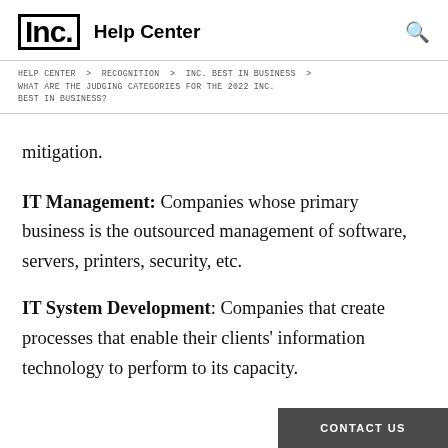Inc. Help Center
HELP CENTER > RECOGNITION > INC. BEST IN BUSINESS > WHAT ARE THE JUDGING CATEGORIES FOR THE 2022 INC. BEST IN BUSINESS?
mitigation.
IT Management: Companies whose primary business is the outsourced management of software, servers, printers, security, etc.
IT System Development: Companies that create processes that enable their clients' information technology to perform to its capacity.
CONTACT US